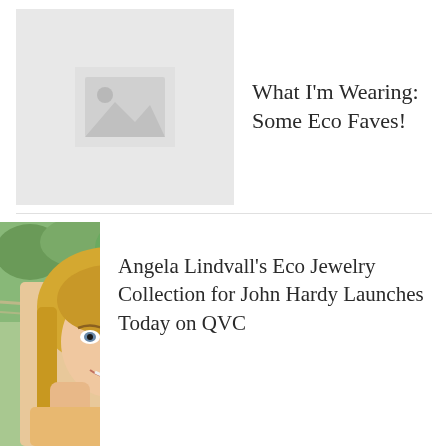[Figure (photo): Placeholder image icon with grey background showing a mountain/landscape icon]
What I'm Wearing: Some Eco Faves!
[Figure (photo): A blonde woman in a hammock wearing jewelry, smiling at the camera - Angela Lindvall]
Angela Lindvall's Eco Jewelry Collection for John Hardy Launches Today on QVC